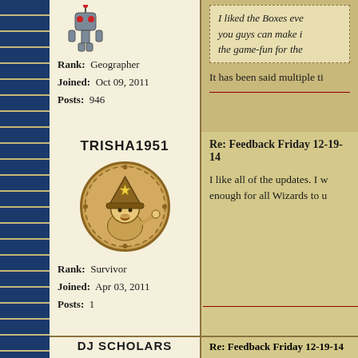[Figure (illustration): Forum post layout - top partial row showing user with Rank: Geographer, Joined: Oct 09, 2011, Posts: 946]
Rank: Geographer
Joined: Oct 09, 2011
Posts: 946
I liked the Boxes eve... you guys can make i... the game-fun for the...
It has been said multiple ti...
TRISHA1951
Rank: Survivor
Joined: Apr 03, 2011
Posts: 1
Re: Feedback Friday 12-19-14
I like all of the updates. I w... enough for all Wizards to u...
DJ SCHOLARS
Re: Feedback Friday 12-19-14
I truly enjoyed the the four... come out with a new world... many dungeon in the past... before I reach the vendor a... don't have fly across the sp...